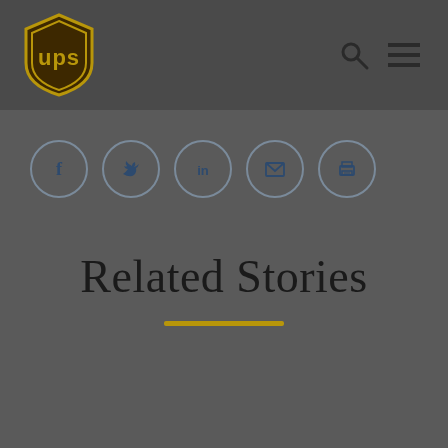UPS website header with logo, search icon, and menu icon
[Figure (logo): UPS shield logo — dark brown shield with gold border and 'ups' text in gold, on dark background]
[Figure (infographic): Social sharing icons row: Facebook, Twitter, LinkedIn, Email, Print — each in a light circular outline on dark background]
Related Stories